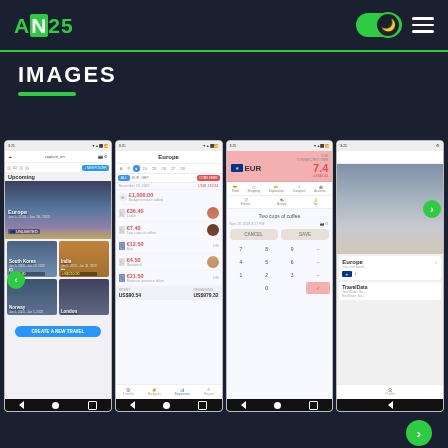AN25 — navigation bar with dark mode toggle and hamburger menu
IMAGES
[Figure (screenshot): Four mobile app screenshots of the AN25 travel expense tracking app showing: 1) Home screen with 'Upcoming' trips list including Europe, South Korea, India, Norway, London and a 'CREATE A NEW TRAVEL' button; 2) Expense tracker for 'Europe' trip showing items like £1,000.00 Budget amount added, €36.40 Lunch, €7.40 Two cups of coffee, €12.50 Bus, €4.50 Sandwich, €21.50 Museum entrance ticket with totals SPENT: US$90.54 and REMAINING: US$979.32; 3) EUR currency detail screen showing rate 7.4 with edit dialog for 'Two cups of coffee' with CANCEL and SAVE buttons and numeric keypad; 4) Another trip card view showing Europe with scroll navigation arrows (left and right green buttons).]